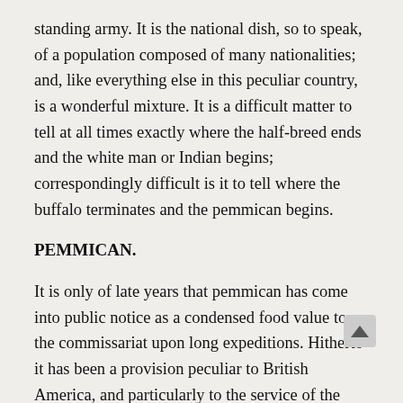standing army. It is the national dish, so to speak, of a population composed of many nationalities; and, like everything else in this peculiar country, is a wonderful mixture. It is a difficult matter to tell at all times exactly where the half-breed ends and the white man or Indian begins; correspondingly difficult is it to tell where the buffalo terminates and the pemmican begins.
PEMMICAN.
It is only of late years that pemmican has come into public notice as a condensed food value to the commissariat upon long expeditions. Hitherto it has been a provision peculiar to British America, and particularly to the service of the Hudson's Bay Company. Notwithstanding the vast annual slaughter of buffaloes south of the forty-ninth parallel, pemmican is made there; the meat being used in the fresn or green state, or in the form of jerked beef. The pemmican of